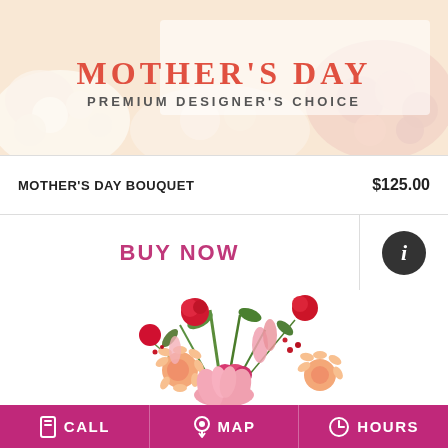[Figure (photo): Mother's Day Premium Designer's Choice banner with pink and orange flower bouquet background and overlaid text]
MOTHER'S DAY
PREMIUM DESIGNER'S CHOICE
| Product | Price |
| --- | --- |
| MOTHER'S DAY BOUQUET | $125.00 |
BUY NOW
[Figure (photo): Flower bouquet with red roses, pink lilies, peach gerbera daisies, pink snapdragons, and green foliage]
CALL   MAP   HOURS